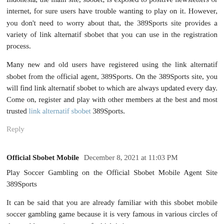Indonesia, the main site, sbobet, is exposed to positive newsletters or internet, for sure users have trouble wanting to play on it. However, you don't need to worry about that, the 389Sports site provides a variety of link alternatif sbobet that you can use in the registration process.
Many new and old users have registered using the link alternatif sbobet from the official agent, 389Sports. On the 389Sports site, you will find link alternatif sbobet to which are always updated every day. Come on, register and play with other members at the best and most trusted link alternatif sbobet 389Sports.
Reply
Official Sbobet Mobile  December 8, 2021 at 11:03 PM
Play Soccer Gambling on the Official Sbobet Mobile Agent Site 389Sports
It can be said that you are already familiar with this sbobet mobile soccer gambling game because it is very famous in various circles of the world community, one of which is in